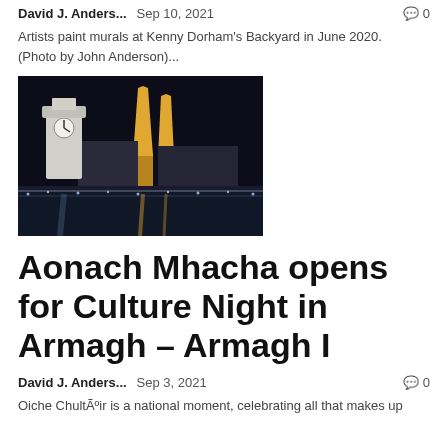David J. Anders...   Sep 10, 2021   🗨 0
Artists paint murals at Kenny Dorham's Backyard in June 2020. (Photo by John Anderson)...
[Figure (photo): Night photograph of a clock tower and illuminated cathedral spires in Armagh, with lights reflected on water in the foreground.]
Aonach Mhacha opens for Culture Night in Armagh – Armagh I
David J. Anders...   Sep 3, 2021   🗨 0
Oiche ChultÃºir is a national moment, celebrating all that makes up